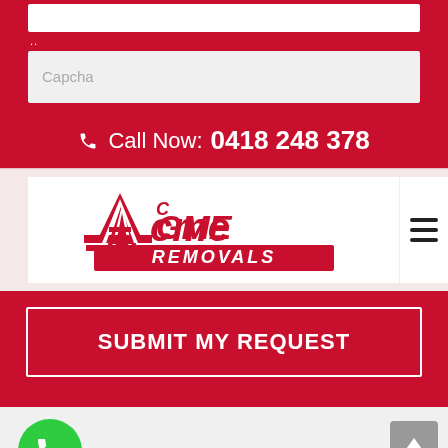[Figure (screenshot): Form input field (white box) at top]
..
Capcha
Call Now: 0418 248 378
[Figure (logo): Acme Removals logo in red on white background]
[Figure (other): Hamburger menu icon (three horizontal lines)]
SUBMIT MY REQUEST
[Figure (other): Green circular phone call button]
[Figure (other): Grey scroll-to-top button with upward arrow]